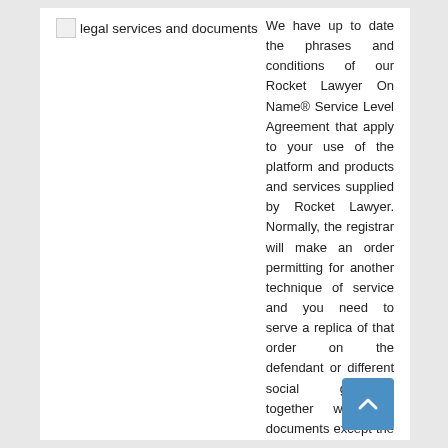legal services and documents
We have up to date the phrases and conditions of our Rocket Lawyer On Name® Service Level Agreement that apply to your use of the platform and products and services supplied by Rocket Lawyer. Normally, the registrar will make an order permitting for another technique of service and you need to serve a replica of that order on the defendant or different social gathering together with the documents except the tactic ordered is service by promoting in the newspaper.
7. Where private service of any document is required by these Guidelines or in any other case and it appears to the Courtroom that prompt personal service can't be effected, the Court docket might make an order for substituted or different service, or for the substitution for service of discover by letter, commercial or in any other case.
three. The delivery or service by post of any document, which is authorised to be delivered or served by submit, shall be